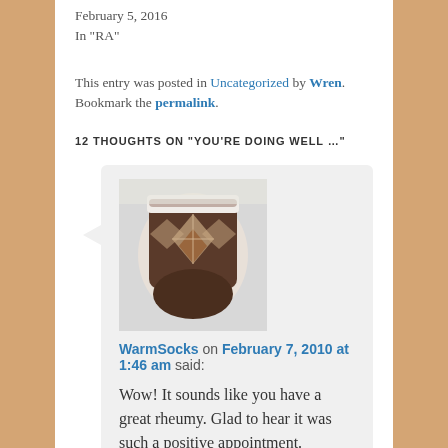February 5, 2016
In "RA"
This entry was posted in Uncategorized by Wren. Bookmark the permalink.
12 THOUGHTS ON "YOU'RE DOING WELL …"
[Figure (photo): Avatar image of a knitted wool sock with argyle pattern in brown and white]
WarmSocks on February 7, 2010 at 1:46 am said:
Wow! It sounds like you have a great rheumy. Glad to hear it was such a positive appointment.

According to my first rheumy, the retina problems with plaquenil were seen in soldiers fighting in Vietnam who took massive quantities of the drug for an